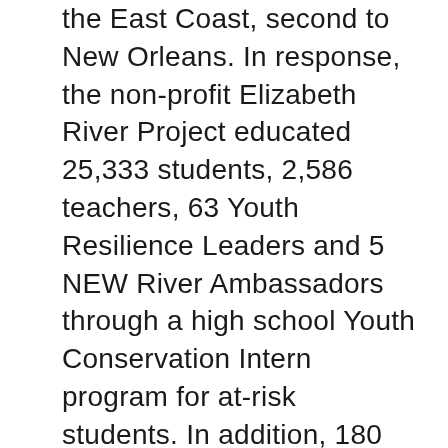the East Coast, second to New Orleans. In response, the non-profit Elizabeth River Project educated 25,333 students, 2,586 teachers, 63 Youth Resilience Leaders and 5 NEW River Ambassadors through a high school Youth Conservation Intern program for at-risk students. In addition, 180 River Star Schools and 13 new Resilient River Star Schools were recognized for implementing environmental projects addressing restoration, conservation, flooding and reducing their carbon footprint.
Show More ▼